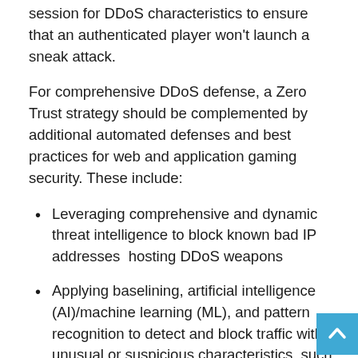session for DDoS characteristics to ensure that an authenticated player won't launch a sneak attack.
For comprehensive DDoS defense, a Zero Trust strategy should be complemented by additional automated defenses and best practices for web and application gaming security. These include:
Leveraging comprehensive and dynamic threat intelligence to block known bad IP addresses  hosting DDoS weapons
Applying baselining, artificial intelligence (AI)/machine learning (ML), and pattern recognition to detect and block traffic with unusual or suspicious characteristics, such as behaviors associated with the orchestration of a distributed attack
Performing real time watermark inspection on all traffic